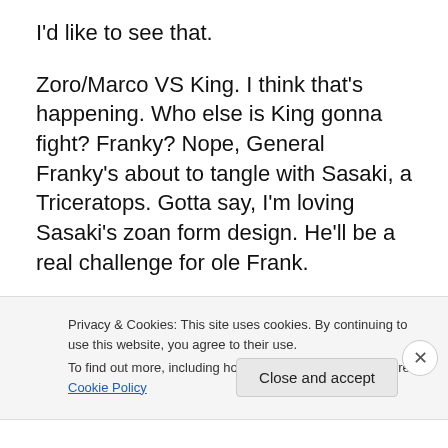I'd like to see that.
Zoro/Marco VS King. I think that’s happening. Who else is King gonna fight? Franky? Nope, General Franky’s about to tangle with Sasaki, a Triceratops. Gotta say, I’m loving Sasaki’s zoan form design. He’ll be a real challenge for ole Frank.
*SIGH* Sanji’s getting a joke fight with Black Maria. Okay, that’s not fair. It’s possible Black Maria could be one of the strongest—HAHAHAHA! Oh, boy. Sorry! I tried to keep a straight face. This is One Piece we’re talking about. The
Privacy & Cookies: This site uses cookies. By continuing to use this website, you agree to their use.
To find out more, including how to control cookies, see here: Cookie Policy
Close and accept